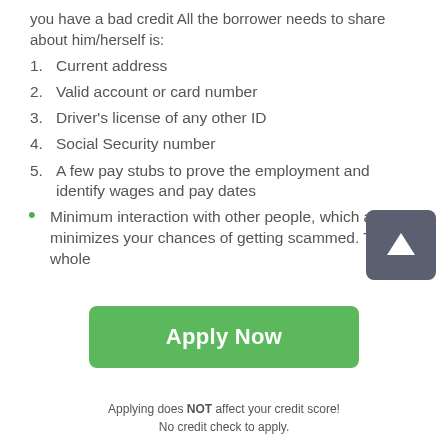you have a bad credit All the borrower needs to share about him/herself is:
1. Current address
2. Valid account or card number
3. Driver's license of any other ID
4. Social Security number
5. A few pay stubs to prove the employment and identify wages and pay dates
Minimum interaction with other people, which also minimizes your chances of getting scammed. The whole
Apply Now
Applying does NOT affect your credit score!
No credit check to apply.